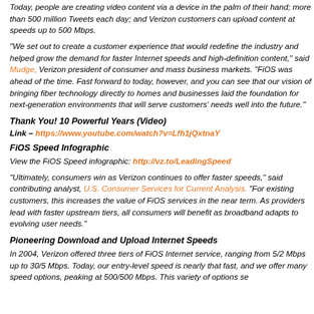Today, people are creating video content via a device in the palm of their hand; more than 500 million Tweets each day; and Verizon customers can upload content at speeds up to 500 Mbps.
"We set out to create a customer experience that would redefine the industry and helped grow the demand for faster Internet speeds and high-definition content," said Mudge, Verizon president of consumer and mass business markets. "FiOS was ahead of the time. Fast forward to today, however, and you can see that our vision of bringing fiber technology directly to homes and businesses laid the foundation for next-generation environments that will serve customers' needs well into the future."
Thank You! 10 Powerful Years (Video)
Link – https://www.youtube.com/watch?v=Lfh1jQxtnaY
FiOS Speed Infographic
View the FiOS Speed infographic: http://vz.to/LeadingSpeed
"Ultimately, consumers win as Verizon continues to offer faster speeds," said contributing analyst, U.S. Consumer Services for Current Analysis. "For existing customers, this increases the value of FiOS services in the near term. As providers lead with faster upstream tiers, all consumers will benefit as broadband adapts to evolving user needs."
Pioneering Download and Upload Internet Speeds
In 2004, Verizon offered three tiers of FiOS Internet service, ranging from 5/2 Mbps up to 30/5 Mbps. Today, our entry-level speed is nearly that fast, and we offer many speed options, peaking at 500/500 Mbps. This variety of options s